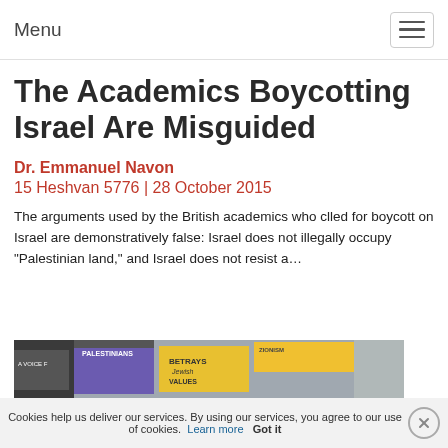Menu
The Academics Boycotting Israel Are Misguided
Dr. Emmanuel Navon
15 Heshvan 5776 | 28 October 2015
The arguments used by the British academics who clled for boycott on Israel are demonstratively false: Israel does not illegally occupy “Palestinian land,” and Israel does not resist a…
[Figure (photo): Protest signs about Palestinians and Jewish values, partial photo strip]
Cookies help us deliver our services. By using our services, you agree to our use of cookies. Learn more   Got it